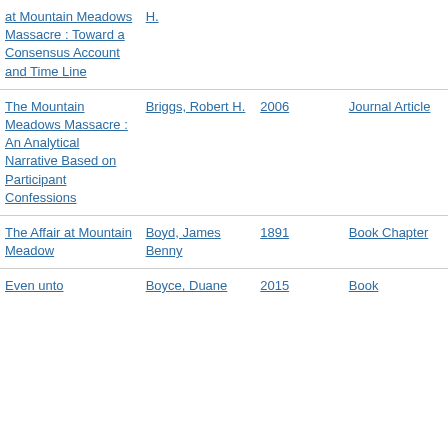| Title | Author | Year | Type |
| --- | --- | --- | --- |
| at Mountain Meadows Massacre : Toward a Consensus Account and Time Line | H. |  |  |
| The Mountain Meadows Massacre : An Analytical Narrative Based on Participant Confessions | Briggs, Robert H. | 2006 | Journal Article |
| The Affair at Mountain Meadow | Boyd, James Benny | 1891 | Book Chapter |
| Even unto... | Boyce, Duane | 2015 | Book |